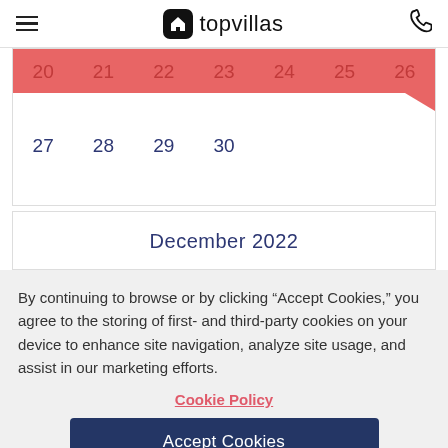topvillas
[Figure (other): Calendar showing November 2022 dates 20-30, with dates 20-26 highlighted in red/pink, and dates 27-30 shown below in white]
December 2022
By continuing to browse or by clicking “Accept Cookies,” you agree to the storing of first- and third-party cookies on your device to enhance site navigation, analyze site usage, and assist in our marketing efforts.
Cookie Policy
Accept Cookies